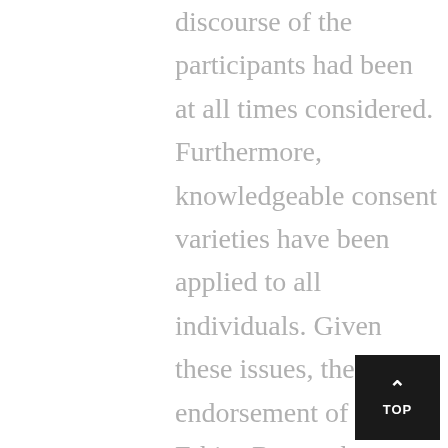discourse of the participants had been at all times considered. Furthermore, knowledgeable consent varieties have been applied to all individuals. Given these issues, the endorsement of the Ethics Research Committee of the National College of Public Health of the College of Antioquia was obtained.
2. The dearth of socio-cultural integration, within the majority of our nations, has given rise to the superimposition of cultures. In the economic sphere, methods have flourished which take into account solely the potential of teams with nice incomes power. This lack of adaptation to the characteristics and to